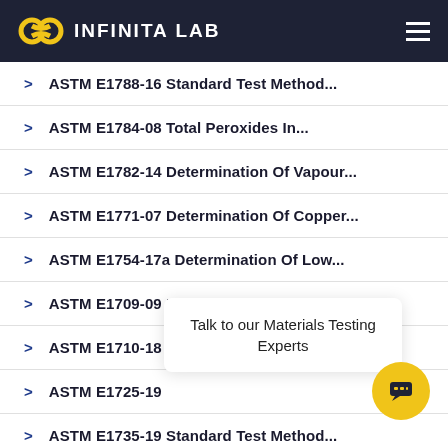INFINITA LAB
ASTM E1788-16 Standard Test Method...
ASTM E1784-08 Total Peroxides In...
ASTM E1782-14 Determination Of Vapour...
ASTM E1771-07 Determination Of Copper...
ASTM E1754-17a Determination Of Low...
ASTM E1709-09 Method For Measurement...
ASTM E1710-18 Standard Test Method...
ASTM E1725-19
ASTM E1735-19 Standard Test Method...
ASTM E1740-22 Standard Test Method
Talk to our Materials Testing Experts